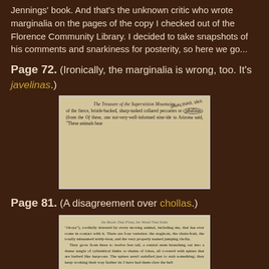Jennings' book. And that's the unknown critic who wrote marginalia on the pages of the copy I checked out of the Florence Community Library. I decided to take snapshots of his comments and snarkiness for posterity, so here we go...
Page 72. (Ironically, the marginalia is wrong, too. It's javelinas.)
[Figure (photo): Photo of a book page titled 'The Treasure of the Superstition Mountains' showing text about fierce, bristle-backed, sharp-tusked collared peccaries or jabalinas (circled), with handwritten marginalia reading 'JAVALINAS, idiot.']
Page 81. (A disagreement over chollas.)
[Figure (photo): Photo of a book page titled 'the Rocks That Float, the Wood That Sinks' showing text about chollas, describing them as cordially detested by every moving animal, with varieties including the staghorn, the chain-fruit, the totally misnamed teddy-bear, and the very properly named jumping cholla.]